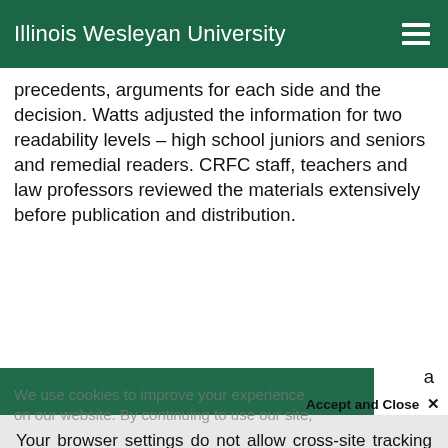Illinois Wesleyan University
precedents, arguments for each side and the decision. Watts adjusted the information for two readability levels – high school juniors and seniors and remedial readers. CRFC staff, teachers and law professors reviewed the materials extensively before publication and distribution.
We use cookies to improve your experience on our website. By continuing to use our site,
Accept and Close ×
Your browser settings do not allow cross-site tracking for advertising. Click on this page to allow AdRoll to use cross-site tracking to tailor ads to you. Learn more or opt out of this AdRoll tracking by clicking here. This message only appears once.